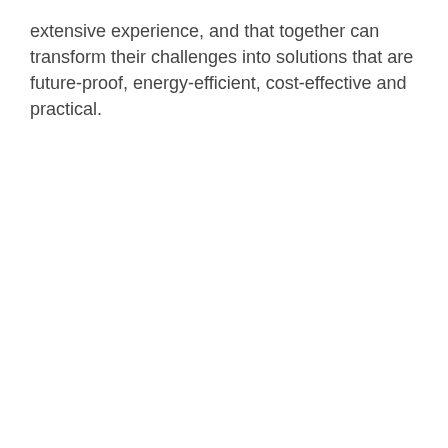extensive experience, and that together can transform their challenges into solutions that are future-proof, energy-efficient, cost-effective and practical.